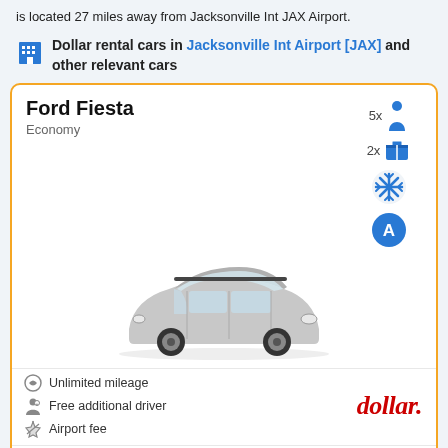is located 27 miles away from Jacksonville Int JAX Airport.
Dollar rental cars in Jacksonville Int Airport [JAX] and other relevant cars
[Figure (other): Ford Fiesta Economy car rental card with orange border, showing car image, passenger/luggage icons (5x passengers, 2x luggage, AC, snowflake), features (Unlimited mileage, Free additional driver, Airport fee), Dollar logo, price $24.47/day, and Rent a car button]